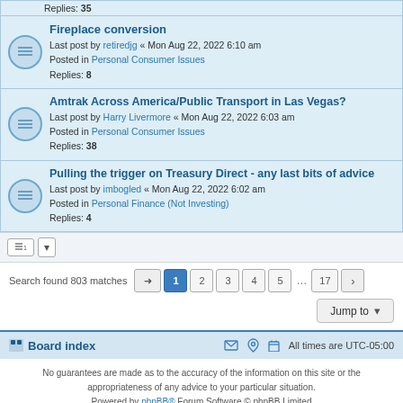Replies: 35
Fireplace conversion
Last post by retiredjg « Mon Aug 22, 2022 6:10 am
Posted in Personal Consumer Issues
Replies: 8
Amtrak Across America/Public Transport in Las Vegas?
Last post by Harry Livermore « Mon Aug 22, 2022 6:03 am
Posted in Personal Consumer Issues
Replies: 38
Pulling the trigger on Treasury Direct - any last bits of advice
Last post by imbogled « Mon Aug 22, 2022 6:02 am
Posted in Personal Finance (Not Investing)
Replies: 4
Search found 803 matches
Board index  All times are UTC-05:00
No guarantees are made as to the accuracy of the information on this site or the appropriateness of any advice to your particular situation.
Powered by phpBB® Forum Software © phpBB Limited
Privacy | Terms
Time: 0.268s | Peak Memory Usage: 9.77 MiB | GZIP: Off